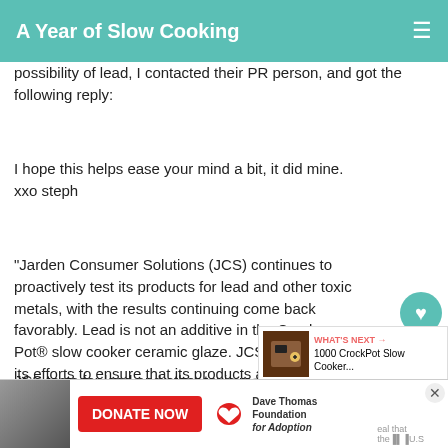A Year of Slow Cooking
possibility of lead, I contacted their PR person, and got the following reply:
I hope this helps ease your mind a bit, it did mine.
xxo steph
"Jarden Consumer Solutions (JCS) continues to proactively test its products for lead and other toxic metals, with the results continuing come back favorably. Lead is not an additive in the Crock Pot® slow cooker ceramic glaze. JCS is diligent in its efforts to ensure that its products are compliant with applicable regulations regarding the presence of lead
JCS tests for lead and other toxic metals in products to ensure they are safe for consumers. In addition, we periodically use
[Figure (other): Ad banner with donate button for Dave Thomas Foundation for Adoption]